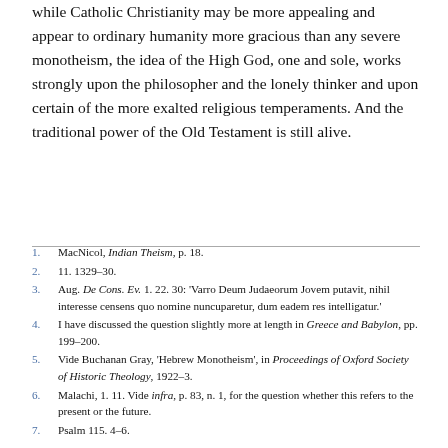while Catholic Christianity may be more appealing and appear to ordinary humanity more gracious than any severe monotheism, the idea of the High God, one and sole, works strongly upon the philosopher and the lonely thinker and upon certain of the more exalted religious temperaments. And the traditional power of the Old Testament is still alive.
1. MacNicol, Indian Theism, p. 18.
2. 11. 1329–30.
3. Aug. De Cons. Ev. 1. 22. 30: 'Varro Deum Judaeorum Jovem putavit, nihil interesse censens quo nomine nuncuparetur, dum eadem res intelligatur.'
4. I have discussed the question slightly more at length in Greece and Babylon, pp. 199–200.
5. Vide Buchanan Gray, 'Hebrew Monotheism', in Proceedings of Oxford Society of Historic Theology, 1922–3.
6. Malachi, 1. 11. Vide infra, p. 83, n. 1, for the question whether this refers to the present or the future.
7. Psalm 115. 4–6.